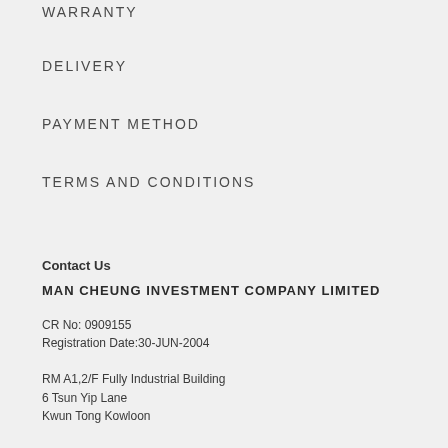WARRANTY
DELIVERY
PAYMENT METHOD
TERMS AND CONDITIONS
Contact Us
MAN CHEUNG INVESTMENT COMPANY LIMITED
CR No: 0909155
Registration Date:30-JUN-2004
RM A1,2/F Fully Industrial Building
6 Tsun Yip Lane
Kwun Tong Kowloon